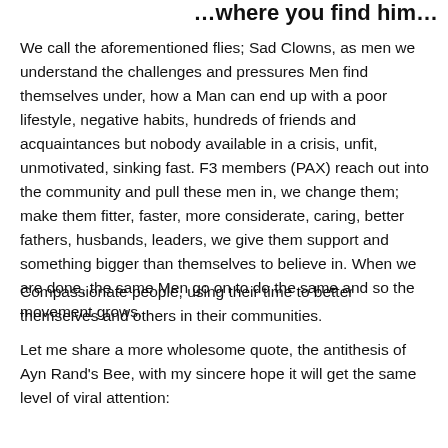…where you find him…
We call the aforementioned flies; Sad Clowns, as men we understand the challenges and pressures Men find themselves under, how a Man can end up with a poor lifestyle, negative habits, hundreds of friends and acquaintances but nobody available in a crisis, unfit, unmotivated, sinking fast. F3 members (PAX) reach out into the community and pull these men in, we change them; make them fitter, faster, more considerate, caring, better fathers, husbands, leaders, we give them support and something bigger than themselves to believe in. When we are done, the same Men go on to do the same and so the movement grows.
Compassionate people, using their time to better themselves and others in their communities.
Let me share a more wholesome quote, the antithesis of Ayn Rand's Bee, with my sincere hope it will get the same level of viral attention: